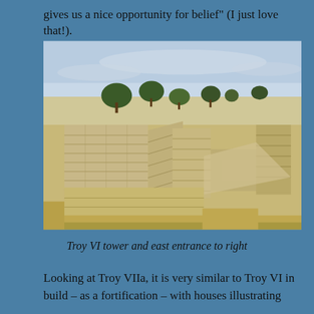gives us a nice opportunity for belief" (I just love that!).
[Figure (photo): Photograph of ancient stone ruins at Troy, showing a large stone tower and fortification walls with an east entrance path to the right. Trees visible in the background against a hazy sky.]
Troy VI tower and east entrance to right
Looking at Troy VIIa, it is very similar to Troy VI in build – as a fortification – with houses illustrating